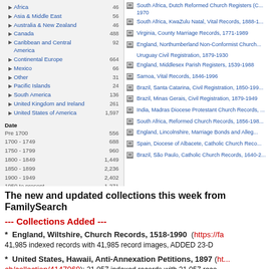[Figure (screenshot): Screenshot of FamilySearch website showing a left navigation panel with geographic regions and date filters, and a right panel listing collection names as links with camera icons.]
The new and updated collections this week from FamilySearch
--- Collections Added ---
* England, Wiltshire, Church Records, 1518-1990 (https://fa...) 41,985 indexed records with 41,985 record images, ADDED 23-D
* United States, Hawaii, Anti-Annexation Petitions, 1897 (ht... ch/collection/4147969): 21,057 indexed records with 21,057 reco